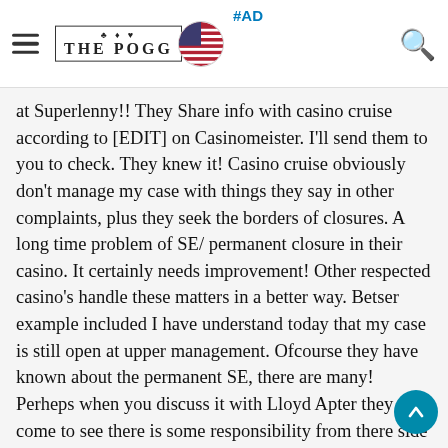THE POGG | #AD
at Superlenny!! They Share info with casino cruise according to [EDIT] on Casinomeister. I'll send them to you to check. They knew it! Casino cruise obviously don't manage my case with things they say in other complaints, plus they seek the borders of closures. A long time problem of SE/ permanent closure in their casino. It certainly needs improvement! Other respected casino's handle these matters in a better way. Betser example included I have understand today that my case is still open at upper management. Ofcourse they have known about the permanent SE, there are many! Perheps when you discuss it with Lloyd Apter they come to see there is some responsibility from there side and a settlement is possible? He is the managing director I believe and know a lot